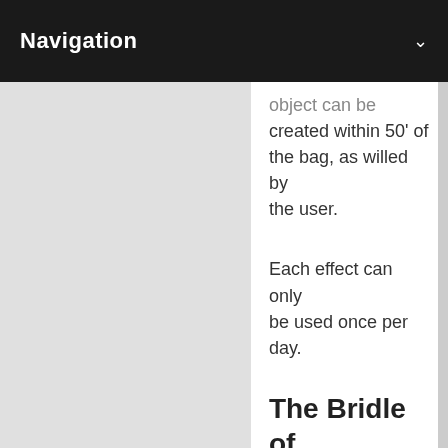Navigation
object can be created within 50' of the bag, as willed by the user.
Each effect can only be used once per day.
The Bridle of the Crystal Steed [Artifact] -